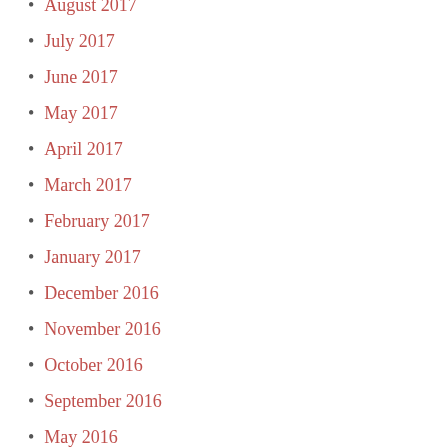August 2017
July 2017
June 2017
May 2017
April 2017
March 2017
February 2017
January 2017
December 2016
November 2016
October 2016
September 2016
May 2016
April 2016
January 2016
October 2015
September 2015